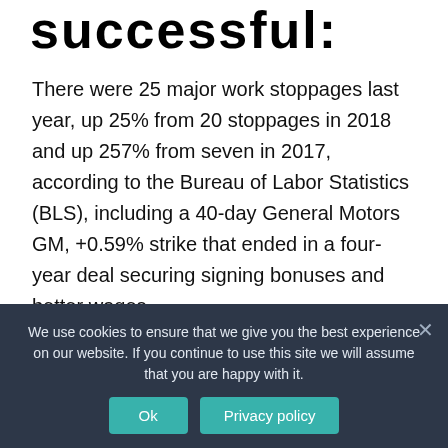successful:
There were 25 major work stoppages last year, up 25% from 20 stoppages in 2018 and up 257% from seven in 2017, according to the Bureau of Labor Statistics (BLS), including a 40-day General Motors GM, +0.59% strike that ended in a four-year deal securing signing bonuses and better wages.
Is striking a good thing?
We use cookies to ensure that we give you the best experience on our website. If you continue to use this site we will assume that you are happy with it.